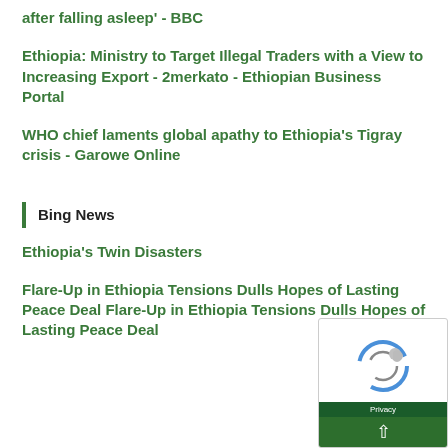after falling asleep' - BBC
Ethiopia: Ministry to Target Illegal Traders with a View to Increasing Export - 2merkato - Ethiopian Business Portal
WHO chief laments global apathy to Ethiopia's Tigray crisis - Garowe Online
Bing News
Ethiopia's Twin Disasters
Flare-Up in Ethiopia Tensions Dulls Hopes of Lasting Peace Deal Flare-Up in Ethiopia Tensions Dulls Hopes of Lasting Peace Deal